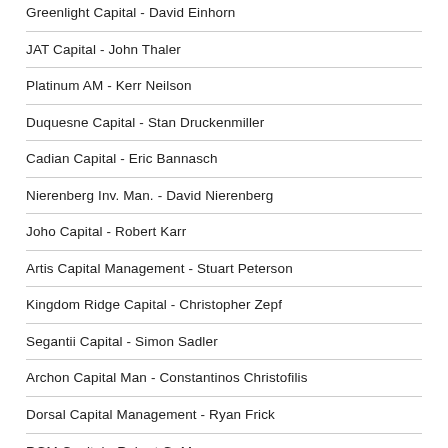Greenlight Capital - David Einhorn
JAT Capital - John Thaler
Platinum AM - Kerr Neilson
Duquesne Capital - Stan Druckenmiller
Cadian Capital - Eric Bannasch
Nierenberg Inv. Man. - David Nierenberg
Joho Capital - Robert Karr
Artis Capital Management - Stuart Peterson
Kingdom Ridge Capital - Christopher Zepf
Segantii Capital - Simon Sadler
Archon Capital Man - Constantinos Christofilis
Dorsal Capital Management - Ryan Frick
RGM Capital - Robert G. Moses